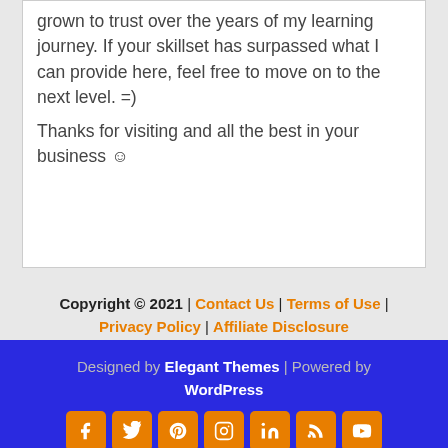grown to trust over the years of my learning journey. If your skillset has surpassed what I can provide here, feel free to move on to the next level. =)

Thanks for visiting and all the best in your business ☺
Copyright © 2021 | Contact Us | Terms of Use | Privacy Policy | Affiliate Disclosure
Designed by Elegant Themes | Powered by WordPress